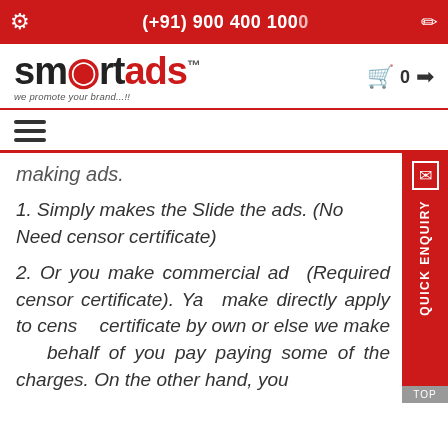(+91) 900 400 1000
[Figure (logo): Smartads logo with tagline 'we promote your brand...!!']
making ads.
1. Simply makes the Slide the ads. (No Need censor certificate)
2. Or you make commercial ads (Required censor certificate). You make directly apply to censor certificate by own or else we make on behalf of you pay paying some of the charges. On the other hand, you